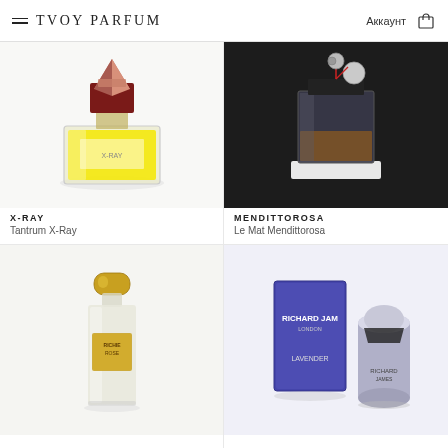TVOY PARFUM  Аккаунт
[Figure (photo): Tantrum X-Ray perfume bottle - square glass bottle with yellow liquid and dark red/rose gold geometric cap]
X-RAY
Tantrum X-Ray
[Figure (photo): Le Mat Mendittorosa perfume - dark glass square bottle with pendant tag, on dark background]
MENDITTOROSA
Le Mat Mendittorosa
[Figure (photo): Richie Rose (or similar) tall glass bottle with gold cap and label, light green/clear liquid]
[Figure (photo): Richard James London Lavender - blue/purple box and grey cylindrical bottle]